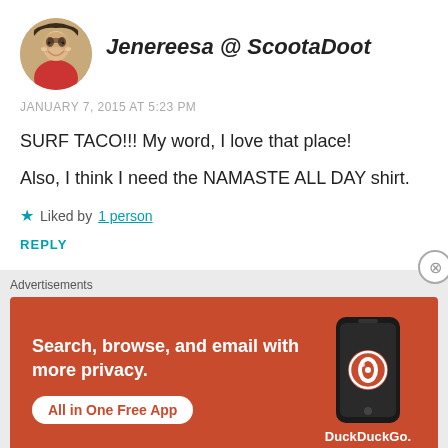Jenereesa @ ScootaDoot
JANUARY 7, 2015 AT 5:23 PM
SURF TACO!!! My word, I love that place!
Also, I think I need the NAMASTE ALL DAY shirt.
★ Liked by 1 person
REPLY
Advertisements
[Figure (screenshot): DuckDuckGo advertisement banner with orange background showing 'Search, browse, and email with more privacy. All in One Free App' with a phone graphic and DuckDuckGo logo]